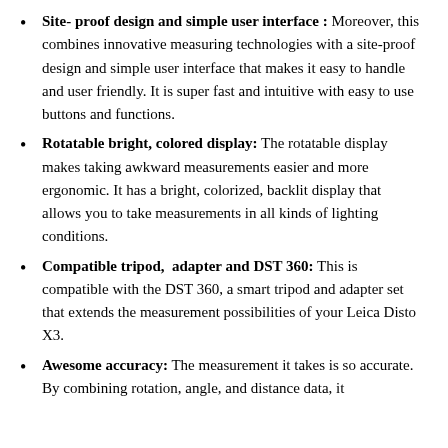Site- proof design and simple user interface : Moreover, this combines innovative measuring technologies with a site-proof design and simple user interface that makes it easy to handle and user friendly. It is super fast and intuitive with easy to use buttons and functions.
Rotatable bright, colored display: The rotatable display makes taking awkward measurements easier and more ergonomic. It has a bright, colorized, backlit display that allows you to take measurements in all kinds of lighting conditions.
Compatible tripod,  adapter and DST 360: This is compatible with the DST 360, a smart tripod and adapter set that extends the measurement possibilities of your Leica Disto X3.
Awesome accuracy: The measurement it takes is so accurate. By combining rotation, angle, and distance data, it